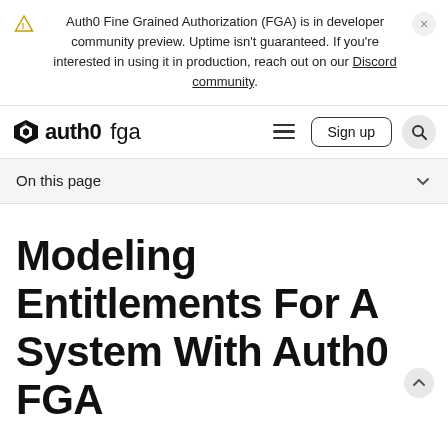Auth0 Fine Grained Authorization (FGA) is in developer community preview. Uptime isn't guaranteed. If you're interested in using it in production, reach out on our Discord community.
[Figure (logo): Auth0 FGA logo with navigation bar including hamburger menu, Sign up button, and search icon]
On this page
Modeling Entitlements For A System With Auth0 FGA
Note